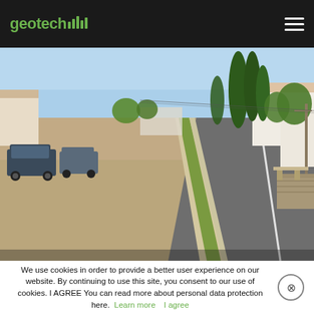geotech
[Figure (photo): Outdoor photo of a road in a residential area with cypress trees in the background, buildings on both sides, parked cars on the left, and a concrete drainage channel or curb dividing the unpaved left area from the asphalt road on the right. Sunny day.]
We use cookies in order to provide a better user experience on our website. By continuing to use this site, you consent to our use of cookies. I AGREE You can read more about personal data protection here. Learn more   I agree